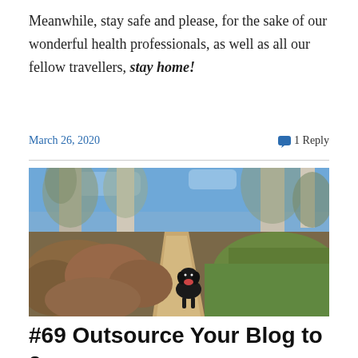Meanwhile, stay safe and please, for the sake of our wonderful health professionals, as well as all our fellow travellers, stay home!
March 26, 2020   1 Reply
[Figure (photo): A black dog standing on a dirt walking trail surrounded by Australian bushland with sparse trees, dry shrubs, and green grass. The dog appears to be a Labrador or similar breed, looking towards the camera with mouth open.]
#69 Outsource Your Blog to a